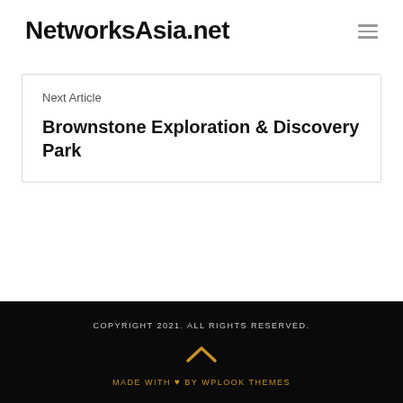NetworksAsia.net
Next Article
Brownstone Exploration & Discovery Park
COPYRIGHT 2021. ALL RIGHTS RESERVED. MADE WITH ♥ BY WPLOOK THEMES